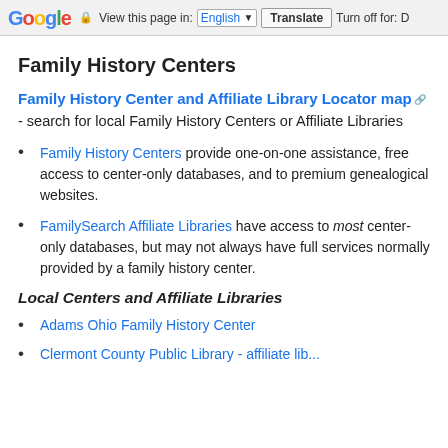Google — View this page in: English [▼] Translate | Turn off for: D
Family History Centers
Family History Center and Affiliate Library Locator map - search for local Family History Centers or Affiliate Libraries
Family History Centers provide one-on-one assistance, free access to center-only databases, and to premium genealogical websites.
FamilySearch Affiliate Libraries have access to most center-only databases, but may not always have full services normally provided by a family history center.
Local Centers and Affiliate Libraries
Adams Ohio Family History Center
Clermont County Public Library - affiliate lib...